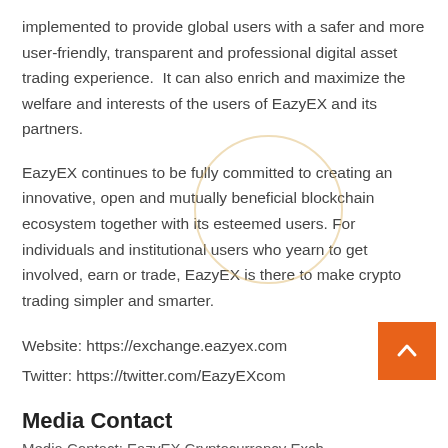implemented to provide global users with a safer and more user-friendly, transparent and professional digital asset trading experience.  It can also enrich and maximize the welfare and interests of the users of EazyEX and its partners.
EazyEX continues to be fully committed to creating an innovative, open and mutually beneficial blockchain ecosystem together with its esteemed users. For individuals and institutional users who yearn to get involved, earn or trade, EazyEX is there to make crypto trading simpler and smarter.
Website: https://exchange.eazyex.com
Twitter: https://twitter.com/EazyEXcom
Media Contact
Media Contact: EazyEX Cryptocurrency Exch...